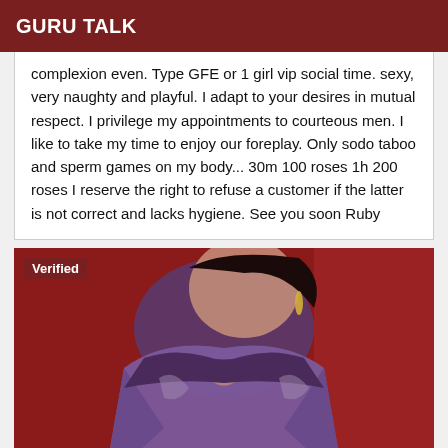GURU TALK
complexion even. Type GFE or 1 girl vip social time. sexy, very naughty and playful. I adapt to your desires in mutual respect. I privilege my appointments to courteous men. I like to take my time to enjoy our foreplay. Only sodo taboo and sperm games on my body... 30m 100 roses 1h 200 roses I reserve the right to refuse a customer if the latter is not correct and lacks hygiene. See you soon Ruby
[Figure (photo): Woman wearing purple satin robe against red background, with 'Verified' badge overlay in top left corner]